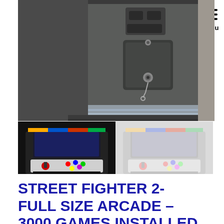[Figure (photo): Close-up photo of a gray arcade cabinet side panel with coin slot, buttons, and a lock with keys, sitting on a concrete floor wrapped in protective plastic at the base.]
[Figure (photo): Two thumbnail photos of a Street Fighter 2 full-size arcade machine showing the screen, joystick controls, and colorful bezel artwork.]
STREET FIGHTER 2- FULL SIZE ARCADE – 3000 GAMES INSTALLED